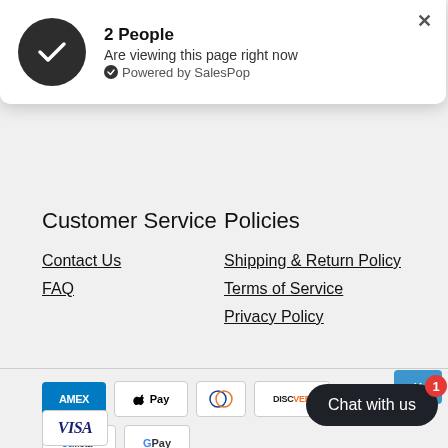[Figure (infographic): SalesPop popup notification showing a dark circle icon with a checkmark, text '2 People Are viewing this page right now Powered by SalesPop', and an X close button]
Customer Service
Policies
Contact Us
FAQ
Shipping & Return Policy
Terms of Service
Privacy Policy
Returns & Refunds
Click here to return your items and be refunded
[Figure (infographic): Payment method icons: American Express, Apple Pay, Diners Club, Discover, Meta Pay, Google Pay, Visa, Venmo]
Chat with us